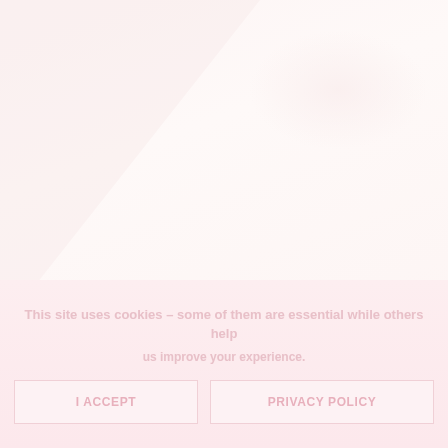[Figure (photo): Faint washed-out background image with pinkish-cream tones, showing a triangular light gradient shape on the left and a soft elliptical highlight on the upper right. The image is very pale/overexposed.]
This site uses cookies – some of them are essential while others help us improve your experience.
I ACCEPT
PRIVACY POLICY